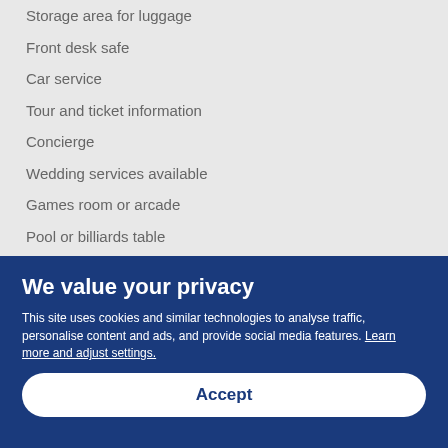Storage area for luggage
Front desk safe
Car service
Tour and ticket information
Concierge
Wedding services available
Games room or arcade
Pool or billiards table
Library
Terrace
Garden
We value your privacy
This site uses cookies and similar technologies to analyse traffic, personalise content and ads, and provide social media features. Learn more and adjust settings.
Accept